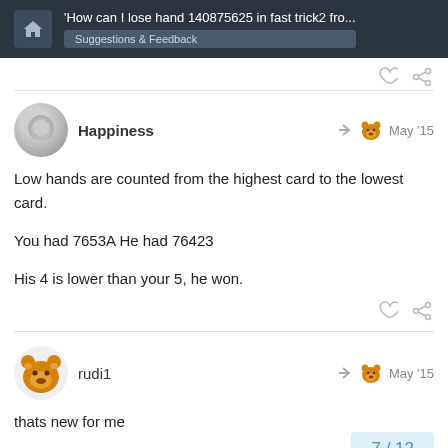'How can I lose hand 140875625 in fast trick2 fro... Suggestions & Feedback
Happiness May '15
Low hands are counted from the highest card to the lowest card.
You had 7653A He had 76423
His 4 is lower than your 5, he won.
rudi1 May '15
thats new for me
7 / 12